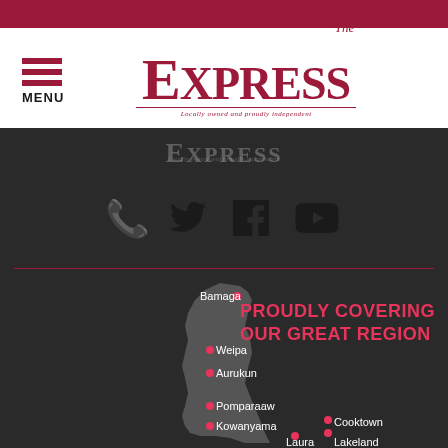[Figure (logo): The Express newspaper logo - red text on white background with tagline 'Locally owned and proudly independent']
[Figure (infographic): Social media icons: phone, Twitter, Facebook, YouTube on dark background]
[Figure (map): Map of Cape York Peninsula Queensland region showing locations: Bamaga, Weipa, Aurukun, Pomparaaw, Kowanyama, Laura, Lakeland, Cooktown with red dot markers]
PROUDLY COVERING OUR GREAT REGION